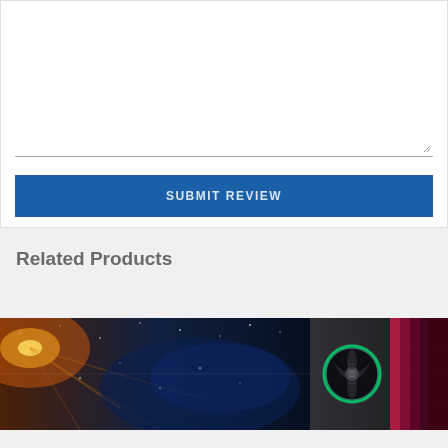Review *
[Figure (screenshot): A textarea input field with a resizable handle at the bottom right, and a Submit Review button below it]
Related Products
[Figure (photo): A wide banner strip showing two product images: left side shows a colorful space/gaming scene with orange and blue tones, right side shows a PC case with RGB lighting and fans]